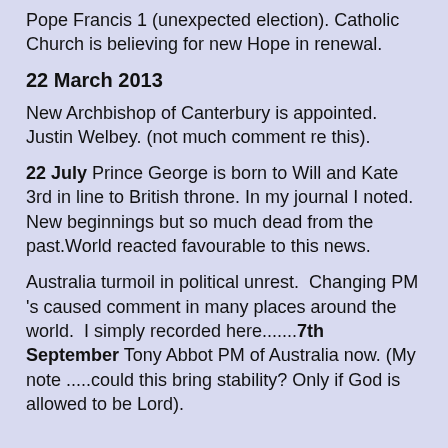Pope Francis 1 (unexpected election). Catholic Church is believing for new Hope in renewal.
22 March 2013
New Archbishop of Canterbury is appointed. Justin Welbey. (not much comment re this).
22 July Prince George is born to Will and Kate 3rd in line to British throne. In my journal I noted. New beginnings but so much dead from the past.World reacted favourable to this news.
Australia turmoil in political unrest. Changing PM 's caused comment in many places around the world. I simply recorded here........7th September Tony Abbot PM of Australia now. (My note .....could this bring stability? Only if God is allowed to be Lord).